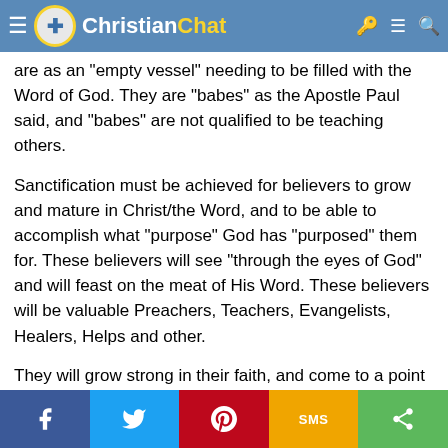Christian Chat
a purpose. God has a purpose for every believer! Salvation is not the end, but it is the beginning! New believers have been washed clean of their past sins, and are as an "empty vessel" needing to be filled with the Word of God. They are "babes" as the Apostle Paul said, and "babes" are not qualified to be teaching others.
Sanctification must be achieved for believers to grow and mature in Christ/the Word, and to be able to accomplish what "purpose" God has "purposed" them for. These believers will see "through the eyes of God" and will feast on the meat of His Word. These believers will be valuable Preachers, Teachers, Evangelists, Healers, Helps and other.
They will grow strong in their faith, and come to a point where it is not possible for them to turn their backs on God, for they see no other way than to serve Him!
This is why I say the "spiritual Truth" of Scripture is ONCE JUSTIFIED, LIVING SANCTIFIED!
Facebook Twitter Pinterest SMS Share